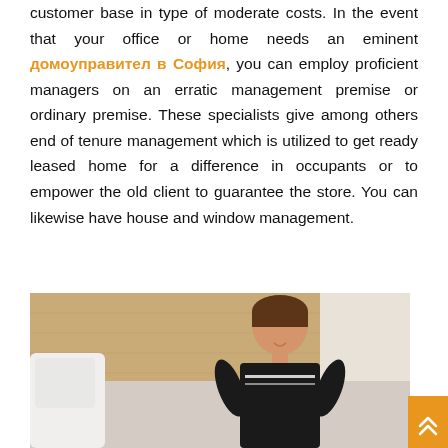customer base in type of moderate costs. In the event that your office or home needs an eminent домоуправител в София, you can employ proficient managers on an erratic management premise or ordinary premise. These specialists give among others end of tenure management which is utilized to get ready leased home for a difference in occupants or to empower the old client to guarantee the store. You can likewise have house and window management.
[Figure (photo): A woman in a dark uniform smiling, appearing to be cleaning or working indoors, with wooden wall paneling and white furniture visible in the background.]